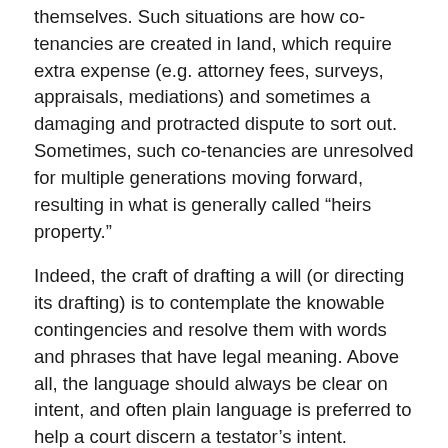themselves. Such situations are how co-tenancies are created in land, which require extra expense (e.g. attorney fees, surveys, appraisals, mediations) and sometimes a damaging and protracted dispute to sort out. Sometimes, such co-tenancies are unresolved for multiple generations moving forward, resulting in what is generally called “heirs property.”
Indeed, the craft of drafting a will (or directing its drafting) is to contemplate the knowable contingencies and resolve them with words and phrases that have legal meaning. Above all, the language should always be clear on intent, and often plain language is preferred to help a court discern a testator’s intent.
Addressing the Share of a Potential Legatee Who Dies Before
A key consideration in drafting is the disposition of property in the event of a predeceased potential legatee. The legal